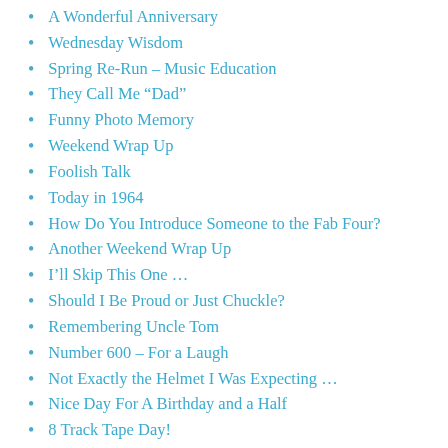A Wonderful Anniversary
Wednesday Wisdom
Spring Re-Run – Music Education
They Call Me “Dad”
Funny Photo Memory
Weekend Wrap Up
Foolish Talk
Today in 1964
How Do You Introduce Someone to the Fab Four?
Another Weekend Wrap Up
I’ll Skip This One …
Should I Be Proud or Just Chuckle?
Remembering Uncle Tom
Number 600 – For a Laugh
Not Exactly the Helmet I Was Expecting …
Nice Day For A Birthday and a Half
8 Track Tape Day!
National Scrabble Day
Toddler Words
April 14 – In History
TV Show Draft – Round 3 – Perry Mason
A Mood Changer
My Kids – Posers?
Friday Flashback – Tile Towers